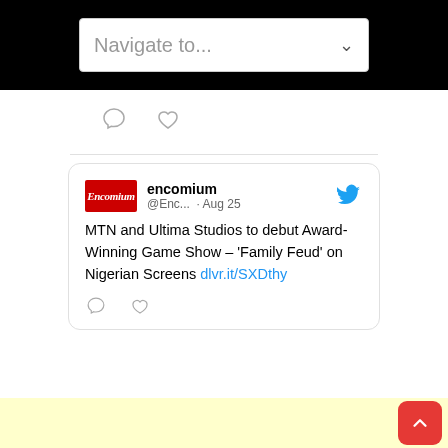Navigate to...
[Figure (screenshot): Twitter/social media icons: comment bubble and heart]
encomium @Enc... · Aug 25
MTN and Ultima Studios to debut Award-Winning Game Show – 'Family Feud' on Nigerian Screens dlvr.it/SXDthy
[Figure (screenshot): Tweet action icons: comment bubble and heart]
[Figure (other): Yellow advertisement area]
[Figure (other): Red scroll-to-top button with upward chevron]